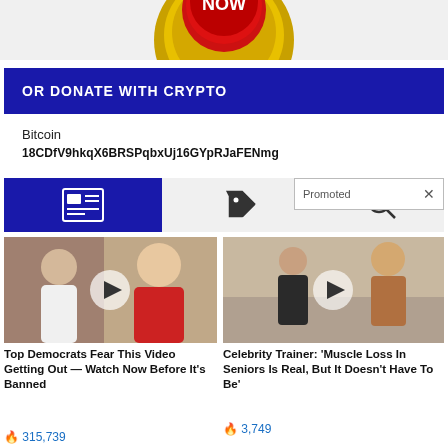[Figure (illustration): Gold coin with red NOW button at top of page, partially cropped]
OR DONATE WITH CRYPTO
Bitcoin
18CDfV9hkqX6BRSPqbxUj16GYpRJaFENmg
[Figure (infographic): Navigation bar with newspaper icon (blue), tag icon, and search icon. Promoted badge overlay with X button.]
[Figure (photo): Thumbnail of political figures (man and woman) with video play button overlay]
Top Democrats Fear This Video Getting Out — Watch Now Before It's Banned
315,739
[Figure (photo): Thumbnail of fitness/gym scene with two people and video play button overlay]
Celebrity Trainer: 'Muscle Loss In Seniors Is Real, But It Doesn't Have To Be'
3,749